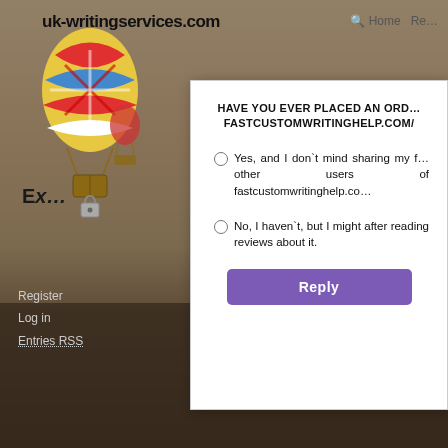uk-writingservices.com   Home  Re…
[Figure (illustration): Hot air balloon with UK flag design floating against a desert/sand dune background with warm brown tones]
E:…
HAVE YOU EVER PLACED AN ORDER AT FASTCUSTOMWRITINGHELP.COM/
Yes, and I don`t mind sharing my feedback with other users of fastcustomwritinghelp.co…
No, I haven`t, but I might after reading reviews about it.
Reply
Register
Log in
Entries RSS
Learn more about research p…